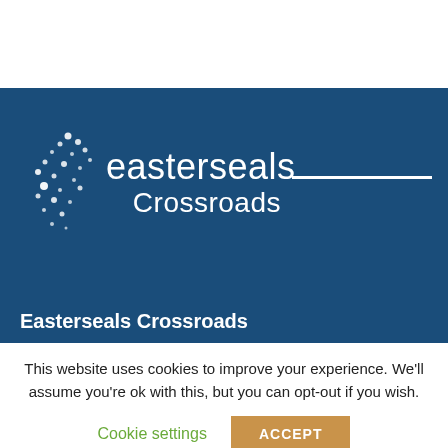[Figure (logo): Easterseals Crossroads logo on dark blue banner background. White dots cluster on left, white text 'easterseals' large and 'Crossroads' below, with a horizontal white line to the right.]
Easterseals Crossroads
This website uses cookies to improve your experience. We'll assume you're ok with this, but you can opt-out if you wish.
Cookie settings   ACCEPT
View our complete web privacy policy here:
https://www.eastersealstech.com/privacy-practices/